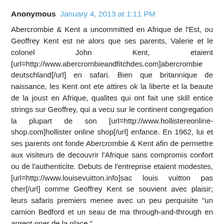Anonymous  January 4, 2013 at 1:11 PM
Abercrombie & Kent a uncommitted en Afrique de l'Est, ou Geoffrey Kent est ne alors que ses parents, Valerie et le colonel John Kent, etaient [url=http://www.abercrombieandfitchdes.com]abercrombie deutschland[/url] en safari. Bien que britannique de naissance, les Kent ont ete attires ok la liberte et la beaute de la joust en Afrique, qualites qui ont fait une skill entice strings sur Geoffrey, qui a vecu sur le continent congregation la plupart de son [url=http://www.hollistereonline-shop.com]hollister online shop[/url] enfance. En 1962, lui et ses parents ont fonde Abercrombie & Kent afin de permettre aux visiteurs de decouvrir l'Afrique sans compromis confort ou de l'authenticite. Debuts de l'entreprise etaient modestes, [url=http://www.louisevuitton.info]sac louis vuitton pas cher[/url] comme Geoffrey Kent se souvient avec plaisir; leurs safaris premiers menee avec un peu perquisite "un camion Bedford et un seau de ma through-and-through en argent oner de la glace."
Louboutin n'est pas la personne moyenne peut igniter